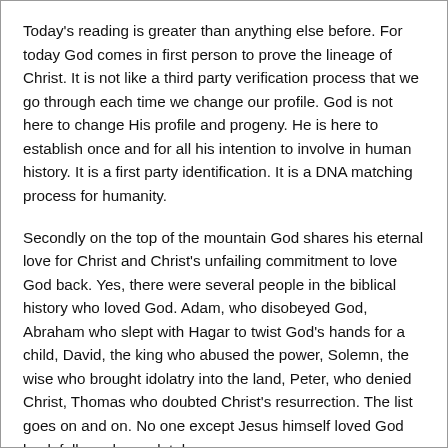Today's reading is greater than anything else before. For today God comes in first person to prove the lineage of Christ. It is not like a third party verification process that we go through each time we change our profile. God is not here to change His profile and progeny. He is here to establish once and for all his intention to involve in human history. It is a first party identification. It is a DNA matching process for humanity.
Secondly on the top of the mountain God shares his eternal love for Christ and Christ's unfailing commitment to love God back. Yes, there were several people in the biblical history who loved God. Adam, who disobeyed God, Abraham who slept with Hagar to twist God's hands for a child, David, the king who abused the power, Solemn, the wise who brought idolatry into the land, Peter, who denied Christ, Thomas who doubted Christ's resurrection. The list goes on and on. No one except Jesus himself loved God back fully and completely.
In the third place, we see, God asking Peter and company to